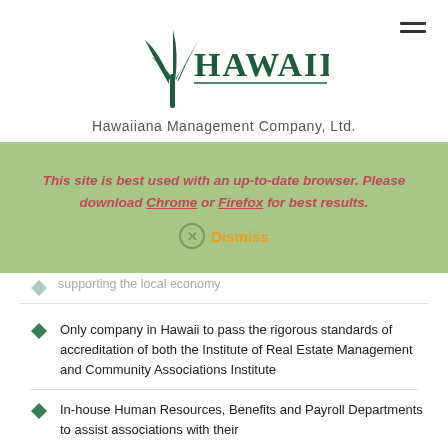[Figure (logo): Hawaiiana Management Company logo with palm tree icon and stylized text]
Hawaiiana Management Company, Ltd.
This site is best used with an up-to-date browser. Please download Chrome or Firefox for best results.
Dismiss
supporting the local economy
Only company in Hawaii to pass the rigorous standards of accreditation of both the Institute of Real Estate Management and Community Associations Institute
In-house Human Resources, Benefits and Payroll Departments to assist associations with their